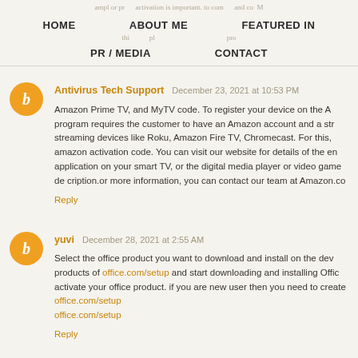HOME   ABOUT ME   FEATURED IN   PR / MEDIA   CONTACT
Antivirus Tech Support December 23, 2021 at 10:53 PM
Amazon Prime TV, and MyTV code. To register your device on the A program requires the customer to have an Amazon account and a str streaming devices like Roku, Amazon Fire TV, Chromecast. For this, amazon activation code. You can visit our website for details of the em application on your smart TV, or the digital media player or video game de cription.or more information, you can contact our team at Amazon.co
Reply
yuvi December 28, 2021 at 2:55 AM
Select the office product you want to download and install on the dev products of office.com/setup and start downloading and installing Offic activate your office product. if you are new user then you need to create office.com/setup
office.com/setup
Reply